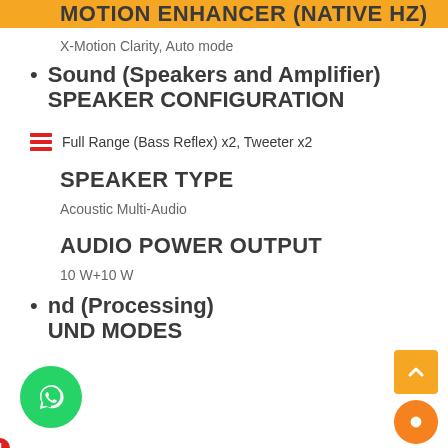MOTION ENHANCER (NATIVE HZ)
X-Motion Clarity, Auto mode
Sound (Speakers and Amplifier) SPEAKER CONFIGURATION
Full Range (Bass Reflex) x2, Tweeter x2
SPEAKER TYPE
Acoustic Multi-Audio
AUDIO POWER OUTPUT
10 W+10 W
Sound (Processing) SOUND MODES